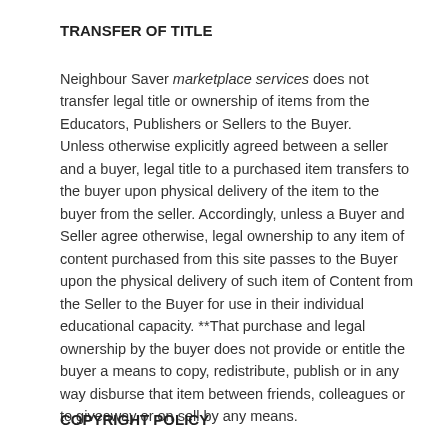TRANSFER OF TITLE
Neighbour Saver marketplace services does not transfer legal title or ownership of items from the Educators, Publishers or Sellers to the Buyer.
Unless otherwise explicitly agreed between a seller and a buyer, legal title to a purchased item transfers to the buyer upon physical delivery of the item to the buyer from the seller. Accordingly, unless a Buyer and Seller agree otherwise, legal ownership to any item of content purchased from this site passes to the Buyer upon the physical delivery of such item of Content from the Seller to the Buyer for use in their individual educational capacity. **That purchase and legal ownership by the buyer does not provide or entitle the buyer a means to copy, redistribute, publish or in any way disburse that item between friends, colleagues or to giveaway or on sell by any means.
COPYRIGHT POLICY